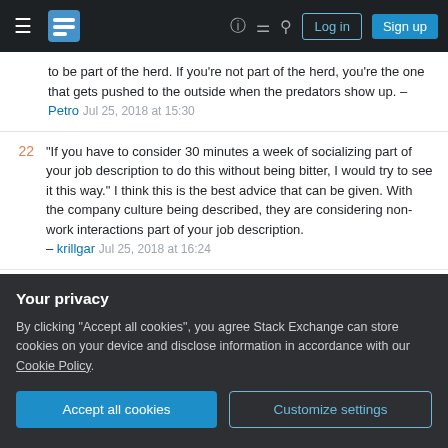Stack Exchange navigation bar with hamburger menu, logo, help, community, search, Log in, Sign up
to be part of the herd. If you're not part of the herd, you're the one that gets pushed to the outside when the predators show up. – Petro Jul 25, 2018 at 15:30
22 "If you have to consider 30 minutes a week of socializing part of your job description to do this without being bitter, I would try to see it this way." I think this is the best advice that can be given. With the company culture being described, they are considering non-work interactions part of your job description. – krillgar Jul 25, 2018 at 16:24
1 +1 for " it's important to recognize that relationship building is a meaningful work activity." Building
Your privacy
By clicking "Accept all cookies", you agree Stack Exchange can store cookies on your device and disclose information in accordance with our Cookie Policy.
Accept all cookies   Customize settings
all, it actually made it harder for me to get my job